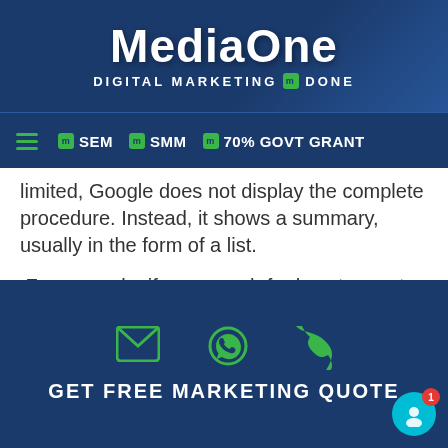[Figure (logo): MediaOne logo with blue background, 'DIGITAL MARKETING [m] DONE' tagline]
SEM | SMM | 70% GOVT GRANT navigation bar
limited, Google does not display the complete procedure. Instead, it shows a summary, usually in the form of a list.
For example, if you search for how to create a content marketing strategy, it returns the following result.
The objective of the query mentioned above is to know how to develop content marketing strategies. The intent it superficial, which is why Google displays the result in the form of a list. If a user wants
GET FREE MARKETING QUOTE